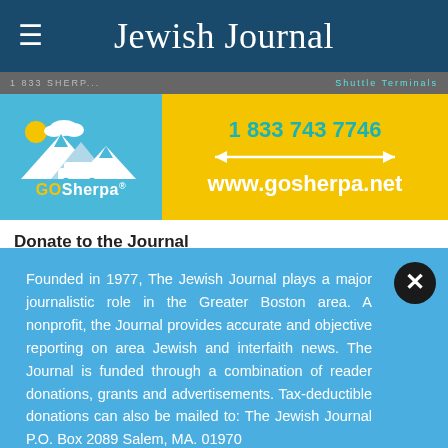Jewish Journal
[Figure (photo): GoSherpa advertisement banner showing logo with mountains and car on blue background, phone number 1 833 743 7746 and website www.gosherpa.net on yellow background]
Donate to the Journal
Founded in 1977, The Jewish Journal plays a major journalistic role in the Greater Boston area. A nonprofit, the Journal provides accurate and objective reporting on area Jewish and interfaith news. The Journal is funded through a combination of reader donations, grants and advertisements. Tax-deductible donations can also be mailed to: The Jewish Journal P.O. Box 2089 Salem, MA. 01970
DONATE TODAY